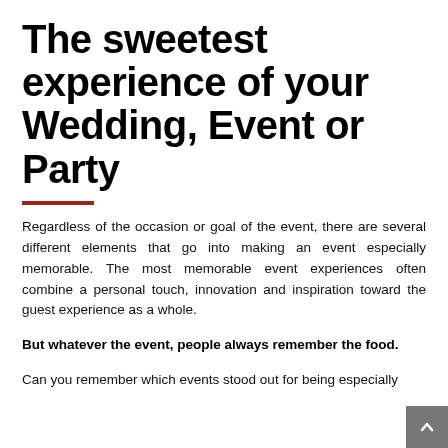The sweetest experience of your Wedding, Event or Party
Regardless of the occasion or goal of the event, there are several different elements that go into making an event especially memorable. The most memorable event experiences often combine a personal touch, innovation and inspiration toward the guest experience as a whole.
But whatever the event, people always remember the food.
Can you remember which events stood out for being especially catergory? Which caregory catered to you?